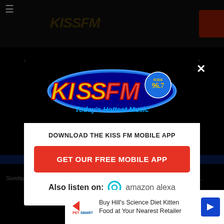[Figure (screenshot): Screenshot of a website with a modal popup for KISS FM 96.7 radio station app download. Background shows dark website header and article text.]
KISS FM 96.7 - Today's Hottest Music
DOWNLOAD THE KISS FM MOBILE APP
GET OUR FREE MOBILE APP
Also listen on: amazon alexa
Sunday. The most expensive county in Montana for fuel is Power... 4.95 accord...
[Figure (other): PetSmart advertisement banner: Buy Hill's Science Diet Kitten Food at Your Nearest Retailer]